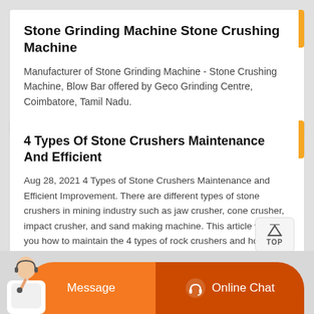Stone Grinding Machine Stone Crushing Machine
Manufacturer of Stone Grinding Machine - Stone Crushing Machine, Blow Bar offered by Geco Grinding Centre, Coimbatore, Tamil Nadu.
4 Types Of Stone Crushers Maintenance And Efficient
Aug 28, 2021 4 Types of Stone Crushers Maintenance and Efficient Improvement. There are different types of stone crushers in mining industry such as jaw crusher, cone crusher, impact crusher, and sand making machine. This article will tell you how to maintain the 4 types of rock crushers and how to efficicently improve their performance. Many stone crusher ...
[Figure (infographic): Orange chat bar with a customer service agent photo on the left, a Message button in orange, and an Online Chat button in darker orange with a headset icon.]